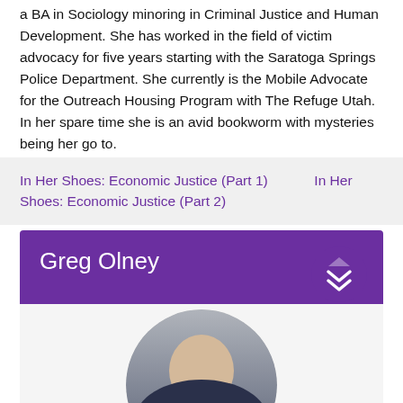a BA in Sociology minoring in Criminal Justice and Human Development. She has worked in the field of victim advocacy for five years starting with the Saratoga Springs Police Department. She currently is the Mobile Advocate for the Outreach Housing Program with The Refuge Utah. In her spare time she is an avid bookworm with mysteries being her go to.
In Her Shoes: Economic Justice (Part 1)    In Her Shoes: Economic Justice (Part 2)
Greg Olney
[Figure (photo): Circular headshot photo of Greg Olney, a middle-aged man with short hair, wearing a dark uniform or suit, with a flag visible in the background.]